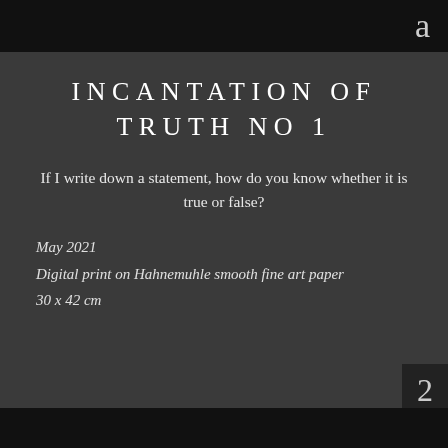a
INCANTATION OF TRUTH NO 1
If I write down a statement, how do you know whether it is true or false?
May 2021
Digital print on Hahnemuhle smooth fine art paper
30 x 42 cm
2